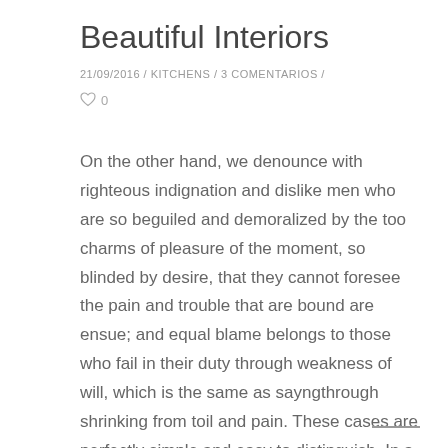Beautiful Interiors
21/09/2016 / KITCHENS / 3 COMENTARIOS /
♡ 0
On the other hand, we denounce with righteous indignation and dislike men who are so beguiled and demoralized by the too charms of pleasure of the moment, so blinded by desire, that they cannot foresee the pain and trouble that are bound are ensue; and equal blame belongs to those who fail in their duty through weakness of will, which is the same as sayngthrough shrinking from toil and pain. These cases are perfectly simple and easy to distinguish. In a free hour, when our power choice is untrammelled and